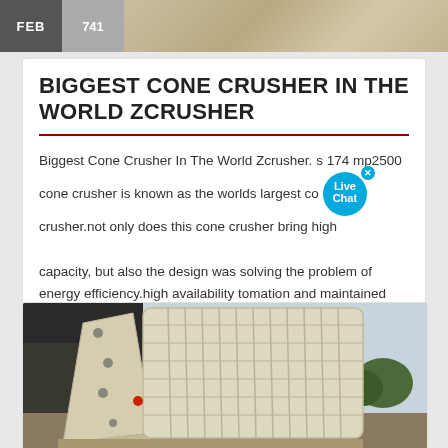[Figure (photo): Top banner image showing quarry/crushed stone ground texture with date label FEB and number 741 overlaid on left side]
BIGGEST CONE CRUSHER IN THE WORLD ZCRUSHER
Biggest Cone Crusher In The World Zcrusher. s 174 mp2500 cone crusher is known as the worlds largest cone crusher.not only does this cone crusher bring high capacity, but also the design was solving the problem of energy efficiency.high availability tomation and maintained crusher force with a hydraulic clearing system.
[Figure (photo): Photo of a large industrial cone crusher machine, cream/beige colored with ribbed structure, sitting outdoors]